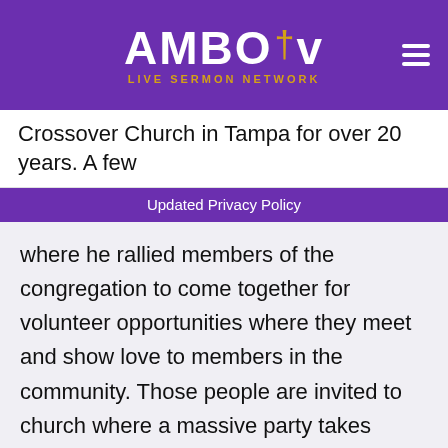AMBO†v LIVE SERMON NETWORK
Crossover Church in Tampa for over 20 years. A few
Updated Privacy Policy
where he rallied members of the congregation to come together for volunteer opportunities where they meet and show love to members in the community. Those people are invited to church where a massive party takes place and results in thousands of new people coming to Christ.
The event captures the attention of businesses around the community who offer sponsorship opportunities, along with politicians and other people